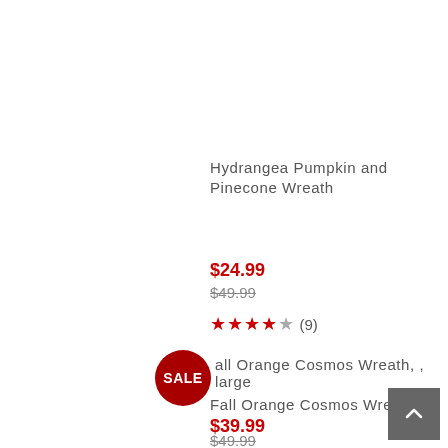Hydrangea Pumpkin and Pinecone Wreath
$24.99
$49.99
★★★★☆ (9)
SALE – Fall Orange Cosmos Wreath, , large
Fall Orange Cosmos Wreath
$39.99
$49.99